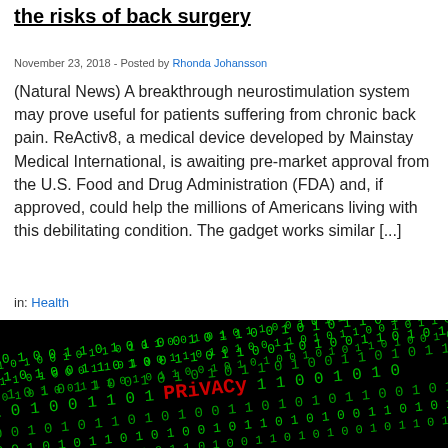...back pain in 80% of patients, may avoid the risks of back surgery
November 23, 2018 - Posted by Rhonda Johansson
(Natural News) A breakthrough neurostimulation system may prove useful for patients suffering from chronic back pain. ReActiv8, a medical device developed by Mainstay Medical International, is awaiting pre-market approval from the U.S. Food and Drug Administration (FDA) and, if approved, could help the millions of Americans living with this debilitating condition. The gadget works similar [...]
in: Health
[Figure (photo): Dark background with green binary code (zeros and ones) and the word PRIVACY highlighted in red pixelated font in the center]